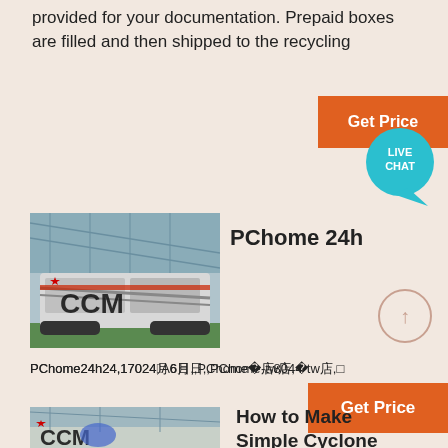provided for your documentation. Prepaid boxes are filled and then shipped to the recycling
[Figure (other): Orange 'Get Price' button with teal 'LIVE CHAT' chat bubble overlapping top right]
PChome 24h
[Figure (photo): Photo of a large CCM-branded mobile crusher/screening machine inside an industrial facility]
[Figure (other): Circle with upward arrow (scroll-to-top button)]
PChome24h24,17024嘁6月日,,PChome月8044-tw店, 
[Figure (other): Orange 'Get Price' button]
[Figure (photo): Photo of CCM-branded industrial machine inside a factory building]
How to Make Simple Cyclone